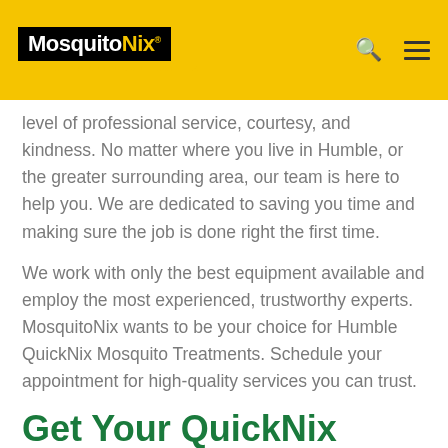MosquitoNix PROTECTING OUTDOOR LIFESTYLES.
level of professional service, courtesy, and kindness. No matter where you live in Humble, or the greater surrounding area, our team is here to help you. We are dedicated to saving you time and making sure the job is done right the first time.
We work with only the best equipment available and employ the most experienced, trustworthy experts. MosquitoNix wants to be your choice for Humble QuickNix Mosquito Treatments. Schedule your appointment for high-quality services you can trust.
Get Your QuickNix